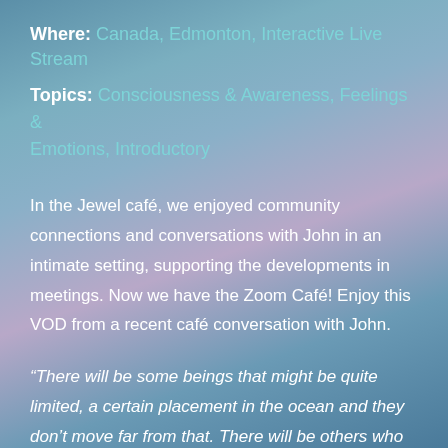Where: Canada, Edmonton, Interactive Live Stream
Topics: Consciousness & Awareness, Feelings & Emotions, Introductory
In the Jewel café, we enjoyed community connections and conversations with John in an intimate setting, supporting the developments in meetings. Now we have the Zoom Café! Enjoy this VOD from a recent café conversation with John.
“There will be some beings that might be quite limited, a certain placement in the ocean and they don’t move far from that. There will be others who